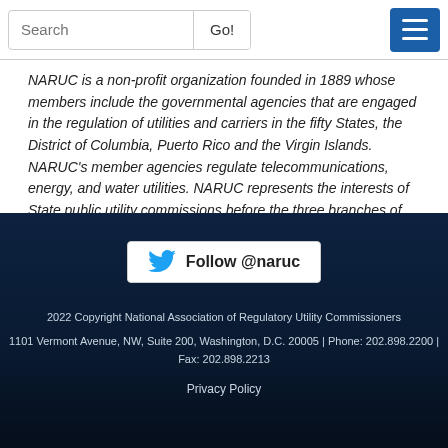Search | Go!
NARUC is a non-profit organization founded in 1889 whose members include the governmental agencies that are engaged in the regulation of utilities and carriers in the fifty States, the District of Columbia, Puerto Rico and the Virgin Islands. NARUC's member agencies regulate telecommunications, energy, and water utilities. NARUC represents the interests of State public utility commissions before the three branches of the Federal government.
[Figure (other): Twitter Follow @naruc button]
2022 Copyright National Association of Regulatory Utility Commissioners
1101 Vermont Avenue, NW, Suite 200, Washington, D.C. 20005 | Phone: 202.898.2200 | Fax: 202.898.2213
Privacy Policy